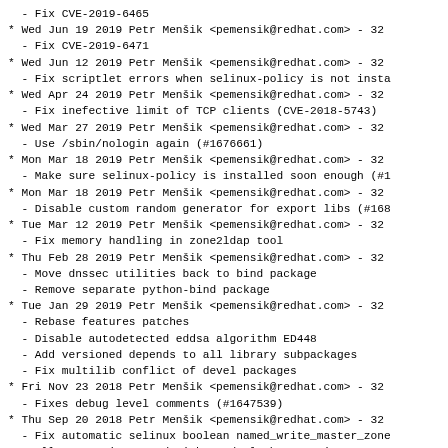- Fix CVE-2019-6465
* Wed Jun 19 2019 Petr Menšik <pemensik@redhat.com> - 32
  - Fix CVE-2019-6471
* Wed Jun 12 2019 Petr Menšik <pemensik@redhat.com> - 32
  - Fix scriptlet errors when selinux-policy is not insta
* Wed Apr 24 2019 Petr Menšik <pemensik@redhat.com> - 32
  - Fix inefective limit of TCP clients (CVE-2018-5743)
* Wed Mar 27 2019 Petr Menšik <pemensik@redhat.com> - 32
  - Use /sbin/nologin again (#1676661)
* Mon Mar 18 2019 Petr Menšik <pemensik@redhat.com> - 32
  - Make sure selinux-policy is installed soon enough (#1
* Mon Mar 18 2019 Petr Menšik <pemensik@redhat.com> - 32
  - Disable custom random generator for export libs (#168
* Tue Mar 12 2019 Petr Menšik <pemensik@redhat.com> - 32
  - Fix memory handling in zone2ldap tool
* Thu Feb 28 2019 Petr Menšik <pemensik@redhat.com> - 32
  - Move dnssec utilities back to bind package
  - Remove separate python-bind package
* Tue Jan 29 2019 Petr Menšik <pemensik@redhat.com> - 32
  - Rebase features patches
  - Disable autodetected eddsa algorithm ED448
  - Add versioned depends to all library subpackages
  - Fix multilib conflict of devel packages
* Fri Nov 23 2018 Petr Menšik <pemensik@redhat.com> - 32
  - Fixes debug level comments (#1647539)
* Thu Sep 20 2018 Petr Menšik <pemensik@redhat.com> - 32
  - Fix automatic selinux boolean named_write_master_zone
  - Allow starting named with readonly home again
* Wed Aug 08 2018 Petr Menšik <pemensik@redhat.com> - 32
  - Fix CVE-2018-5740